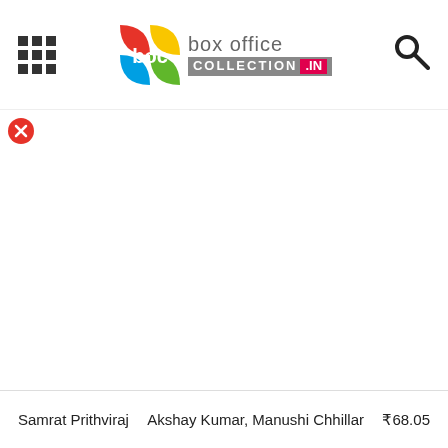Box Office Collection .IN — navigation header with logo
[Figure (logo): Box Office Collection .IN logo with colorful boc icon and text]
[Figure (logo): Red circle with white X close button]
Samrat Prithviraj   Akshay Kumar, Manushi Chhillar   ₹68.05